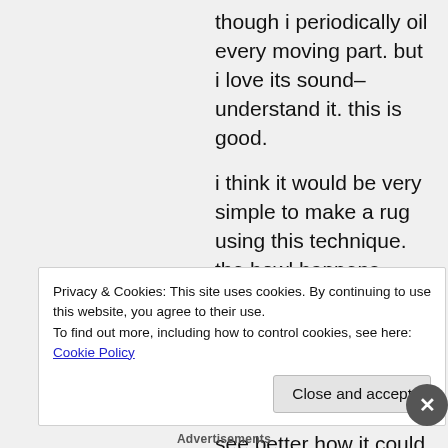though i periodically oil every moving part. but i love its sound–understand it. this is good.
i think it would be very simple to make a rug using this technique. the bowl happens when the base is raised perpendicular to the surface. maybe i'll take pictures of the process and you will see better how it could be. and if i remember correctly, you have an old hand crank beauty? so zig zag
Privacy & Cookies: This site uses cookies. By continuing to use this website, you agree to their use.
To find out more, including how to control cookies, see here: Cookie Policy
Close and accept
Advertisements